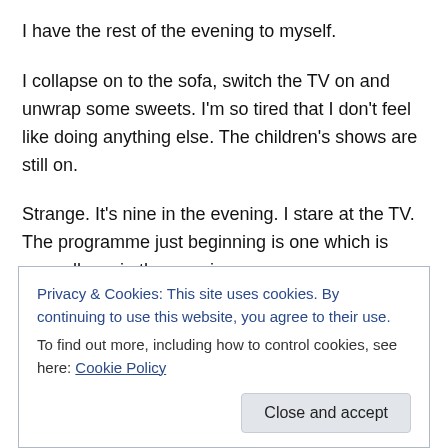I have the rest of the evening to myself.
I collapse on to the sofa, switch the TV on and unwrap some sweets. I'm so tired that I don't feel like doing anything else. The children's shows are still on.
Strange. It's nine in the evening. I stare at the TV. The programme just beginning is one which is normally on in the morning.
'Over the hills and far away…' A singsong voice.
I'm about to change the channel when I notice the sun. There's a
Privacy & Cookies: This site uses cookies. By continuing to use this website, you agree to their use.
To find out more, including how to control cookies, see here: Cookie Policy